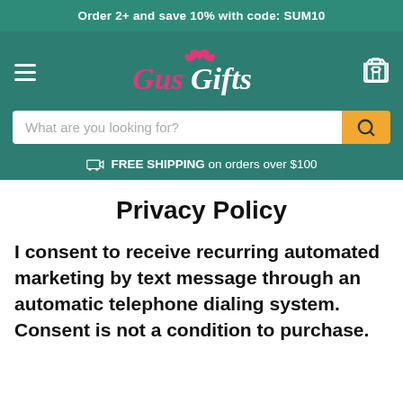Order 2+ and save 10% with code: SUM10
[Figure (logo): GusGifts logo with hamburger menu on left, shopping cart icon on right, on teal/dark green background]
What are you looking for?
FREE SHIPPING on orders over $100
Privacy Policy
I consent to receive recurring automated marketing by text message through an automatic telephone dialing system. Consent is not a condition to purchase.